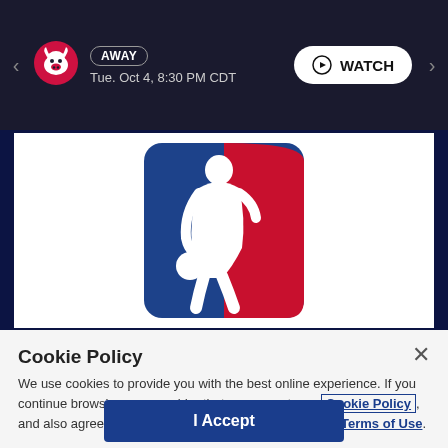[Figure (screenshot): NBA website header showing Chicago Bulls away game on Tue. Oct 4, 8:30 PM CDT with a WATCH button]
[Figure (logo): NBA logo - white silhouette of basketball player dribbling against blue and red background]
Cookie Policy
We use cookies to provide you with the best online experience. If you continue browsing, we consider that you accept our Cookie Policy, and also agree to the terms of our Privacy Policy and Terms of Use.
I Accept